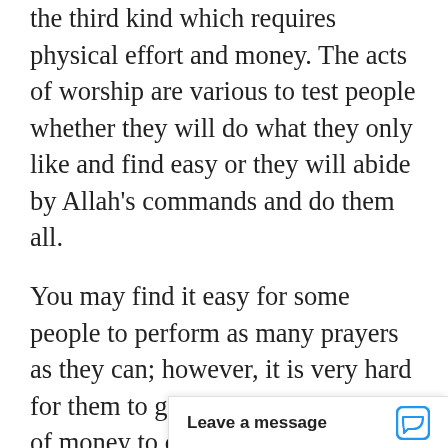the third kind which requires physical effort and money. The acts of worship are various to test people whether they will do what they only like and find easy or they will abide by Allah's commands and do them all.
You may find it easy for some people to perform as many prayers as they can; however, it is very hard for them to give even a small sum of money to charity. On the contrary, there are others who can pay zakat and give to charity easily but it is hard for them to perform prayers or fasting. To pass the test, one needs to be patient enough to be able to obey Allah's commands without any differentiation between them. The hardship one may find needs patience a[nd...]